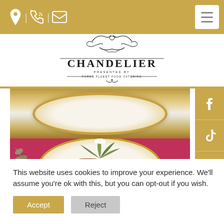Navigation header with location, phone, email icons and hamburger menu
[Figure (logo): Chandelier logo - ornate black decorative crest above text reading CHANDELIER, presented by Fords Fluent Food Catering]
[Figure (photo): Two food photos: top shows a white plate with gold rim on golden background; bottom shows an elegant plated dish with meat, microgreens, white flower, and purple orchid on white plate with pink/magenta tablecloth]
This website uses cookies to improve your experience. We'll assume you're ok with this, but you can opt-out if you wish.
Accept
Reject